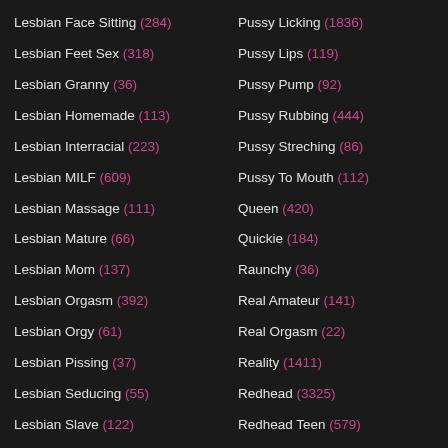Lesbian Face Sitting (284)
Lesbian Feet Sex (318)
Lesbian Granny (36)
Lesbian Homemade (113)
Lesbian Interracial (223)
Lesbian MILF (609)
Lesbian Massage (111)
Lesbian Mature (66)
Lesbian Mom (137)
Lesbian Orgasm (392)
Lesbian Orgy (61)
Lesbian Pissing (37)
Lesbian Seducing (55)
Lesbian Slave (122)
Lesbian Squirting (95)
Lesbian Teacher (13)
Pussy Licking (1836)
Pussy Lips (119)
Pussy Pump (92)
Pussy Rubbing (444)
Pussy Streching (86)
Pussy To Mouth (112)
Queen (420)
Quickie (184)
Raunchy (36)
Real Amateur (141)
Real Orgasm (22)
Reality (1411)
Redhead (3325)
Redhead Teen (579)
Repairman (13)
Restaurant (37)